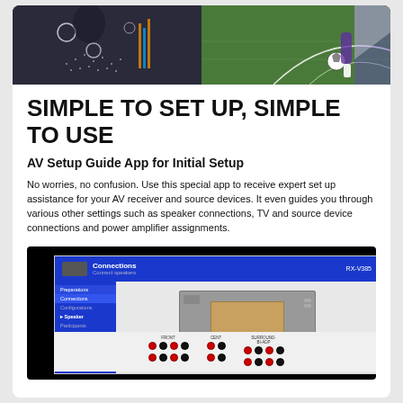[Figure (photo): Split image: left side shows a person in a dark jacket with electronic components/dots overlay effect; right side shows a soccer player kicking a ball on a green field.]
SIMPLE TO SET UP, SIMPLE TO USE
AV Setup Guide App for Initial Setup
No worries, no confusion. Use this special app to receive expert set up assistance for your AV receiver and source devices. It even guides you through various other settings such as speaker connections, TV and source device connections and power amplifier assignments.
[Figure (screenshot): Screenshot of AV Setup Guide app showing 'Connections - Connect speakers' screen for RX-V385. Left sidebar shows menu items: Preparations, Connections, Configurations, Speaker, Participants, Playback Device, Setup, Finish. Main area shows a diagram of the AV receiver back panel with speaker connection terminals and dots indicating connections. Below the receiver diagram is a section showing speaker terminal connections labeled FRONT, CENT, SURROUND, BI-ADP with red and black binding posts.]